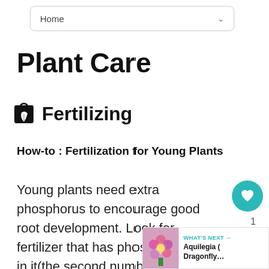Home
Plant Care
Fertilizing
How-to : Fertilization for Young Plants
Young plants need extra phosphorus to encourage good root development. Look for fertilizer that has phosphorus, P, in it(the second number on the bag.) Apply recommended amount for plant per label directions in the soil at time of planting or at